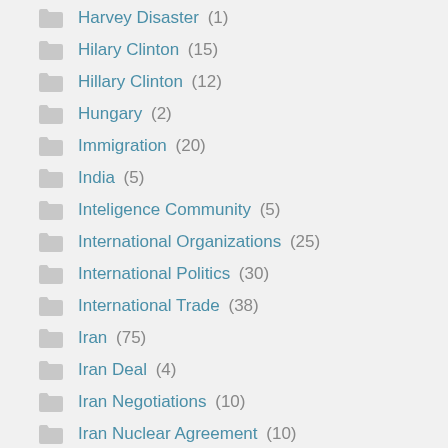Harvey Disaster (1)
Hilary Clinton (15)
Hillary Clinton (12)
Hungary (2)
Immigration (20)
India (5)
Inteligence Community (5)
International Organizations (25)
International Politics (30)
International Trade (38)
Iran (75)
Iran Deal (4)
Iran Negotiations (10)
Iran Nuclear Agreement (10)